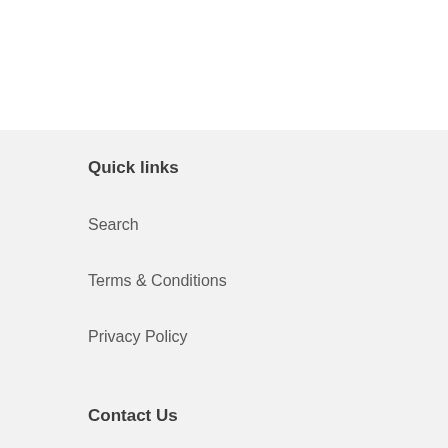Quick links
Search
Terms & Conditions
Privacy Policy
Contact Us
contact@avantgardebrands.co.uk